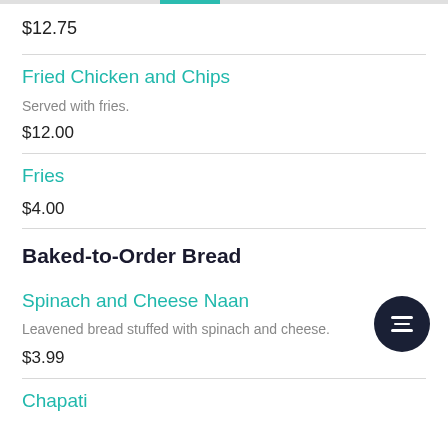$12.75
Fried Chicken and Chips
Served with fries.
$12.00
Fries
$4.00
Baked-to-Order Bread
Spinach and Cheese Naan
Leavened bread stuffed with spinach and cheese.
$3.99
Chapati